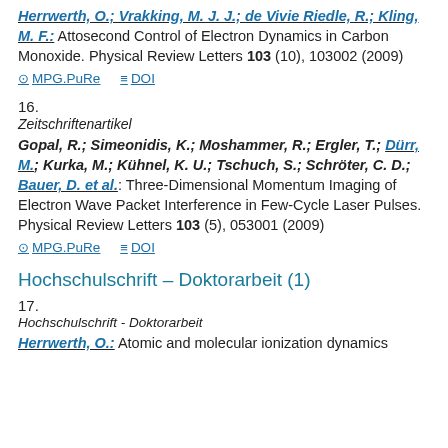Herrwerth, O.; Vrakking, M. J. J.; de Vivie Riedle, R.; Kling, M. F.: Attosecond Control of Electron Dynamics in Carbon Monoxide. Physical Review Letters 103 (10), 103002 (2009)
MPG.PuRe   DOI
16.
Zeitschriftenartikel
Gopal, R.; Simeonidis, K.; Moshammer, R.; Ergler, T.; Dürr, M.; Kurka, M.; Kühnel, K. U.; Tschuch, S.; Schröter, C. D.; Bauer, D. et al.: Three-Dimensional Momentum Imaging of Electron Wave Packet Interference in Few-Cycle Laser Pulses. Physical Review Letters 103 (5), 053001 (2009)
MPG.PuRe   DOI
Hochschulschrift – Doktorarbeit (1)
17.
Hochschulschrift - Doktorarbeit
Herrwerth, O.: Atomic and molecular ionization dynamics